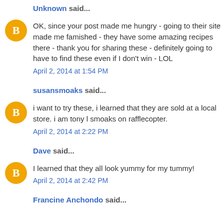Unknown said...
OK, since your post made me hungry - going to their site made me famished - they have some amazing recipes there - thank you for sharing these - definitely going to have to find these even if I don't win - LOL
April 2, 2014 at 1:54 PM
susansmoaks said...
i want to try these, i learned that they are sold at a local store. i am tony l smoaks on rafflecopter.
April 2, 2014 at 2:22 PM
Dave said...
I learned that they all look yummy for my tummy!
April 2, 2014 at 2:42 PM
Francine Anchondo said...